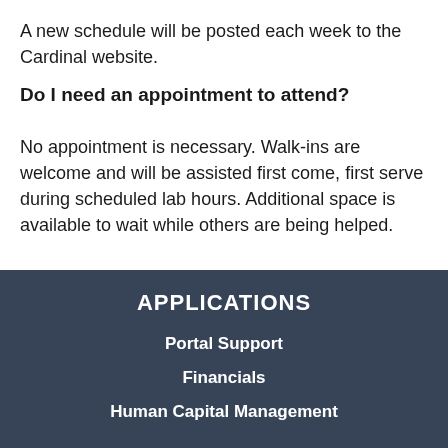A new schedule will be posted each week to the Cardinal website.
Do I need an appointment to attend?
No appointment is necessary. Walk-ins are welcome and will be assisted first come, first serve during scheduled lab hours. Additional space is available to wait while others are being helped.
APPLICATIONS
Portal Support
Financials
Human Capital Management